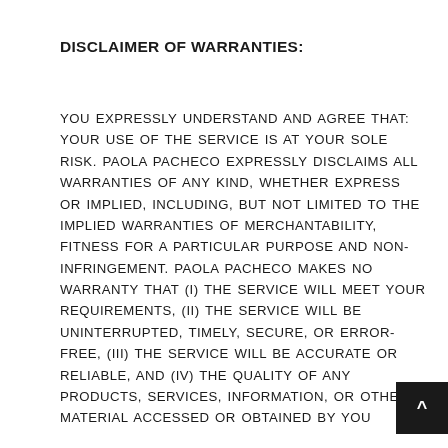DISCLAIMER OF WARRANTIES:
YOU EXPRESSLY UNDERSTAND AND AGREE THAT: YOUR USE OF THE SERVICE IS AT YOUR SOLE RISK. PAOLA PACHECO EXPRESSLY DISCLAIMS ALL WARRANTIES OF ANY KIND, WHETHER EXPRESS OR IMPLIED, INCLUDING, BUT NOT LIMITED TO THE IMPLIED WARRANTIES OF MERCHANTABILITY, FITNESS FOR A PARTICULAR PURPOSE AND NON-INFRINGEMENT. PAOLA PACHECO MAKES NO WARRANTY THAT (i) THE SERVICE WILL MEET YOUR REQUIREMENTS, (ii) THE SERVICE WILL BE UNINTERRUPTED, TIMELY, SECURE, OR ERROR-FREE, (iii) THE SERVICE WILL BE ACCURATE OR RELIABLE, AND (iv) THE QUALITY OF ANY PRODUCTS, SERVICES, INFORMATION, OR OTHER MATERIAL ACCESSED OR OBTAINED BY YOU